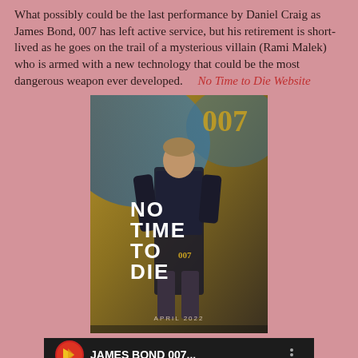What possibly could be the last performance by Daniel Craig as James Bond, 007 has left active service, but his retirement is short-lived as he goes on the trail of a mysterious villain (Rami Malek) who is armed with a new technology that could be the most dangerous weapon ever developed.    No Time to Die Website
[Figure (photo): Movie poster for 'No Time to Die' featuring Daniel Craig as James Bond, with bold white text reading NO TIME TO DIE and 007 logo, 'APRIL 2022' at the bottom]
[Figure (screenshot): YouTube video thumbnail for 'JAMES BOND 007...' trailer, showing a man in sunglasses. Has a red YouTube play button overlay, KHD logo in bottom left, and 'KHD TRAILER' text. Includes a channel logo (red circle with gold K-like arrow).]